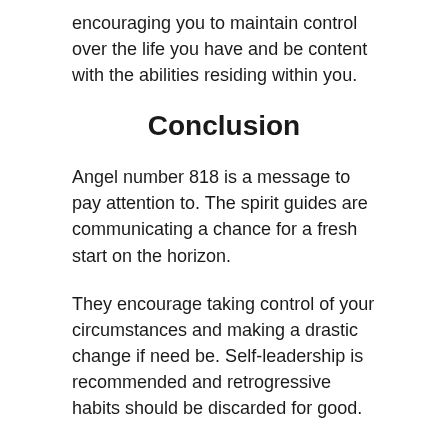encouraging you to maintain control over the life you have and be content with the abilities residing within you.
Conclusion
Angel number 818 is a message to pay attention to. The spirit guides are communicating a chance for a fresh start on the horizon.
They encourage taking control of your circumstances and making a drastic change if need be. Self-leadership is recommended and retrogressive habits should be discarded for good.